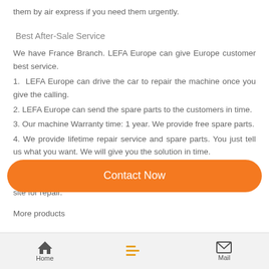them by air express if you need them urgently.
Best After-Sale Service
We have France Branch. LEFA Europe can give Europe customer best service.
1. LEFA Europe can drive the car to repair the machine once you give the calling.
2. LEFA Europe can send the spare parts to the customers in time.
3. Our machine Warranty time: 1 year. We provide free spare parts.
4. We provide lifetime repair service and spare parts. You just tell us what you want. We will give you the solution in time.
5. If the LEFA Europe cannot give you satisfaction. The head office engineer is willing to wear the LEFA blue Uniform clothes to your site for repair.
More products
Contact Now
Home   Mail